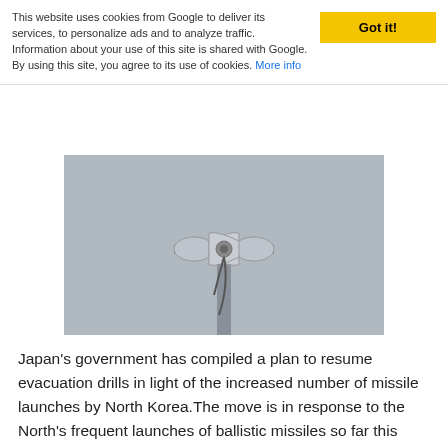This website uses cookies from Google to deliver its services, to personalize ads and to analyze traffic. Information about your use of this site is shared with Google. By using this site, you agree to its use of cookies. More info
Got it!
[Figure (photo): A public warning siren/loudspeaker mounted on a pole against a grey sky]
Japan's government has compiled a plan to resume evacuation drills in light of the increased number of missile launches by North Korea.The move is in response to the North's frequent launches of ballistic missiles so far this year. The government already announced plans to resume the drills for the...more
Typhoon Hinnamnor approaching Okinawa's southwestern islands
[Figure (screenshot): News ticker/graphic showing typhoon information with green and white labels reading 非常に強い台風11号 and 先島諸島へ 来週 西日本接近も]